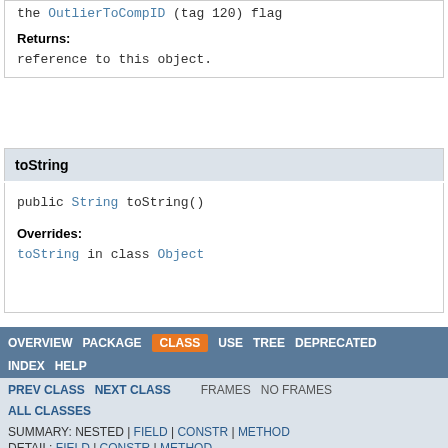the OutlierToCompID (tag 120) flag
Returns: reference to this object.
toString
public String toString()
Overrides: toString in class Object
OVERVIEW PACKAGE CLASS USE TREE DEPRECATED INDEX HELP PREV CLASS NEXT CLASS FRAMES NO FRAMES ALL CLASSES SUMMARY: NESTED | FIELD | CONSTR | METHOD DETAIL: FIELD | CONSTR | METHOD Copyright © 2005-2022 Onix Solutions. All rights reserved.